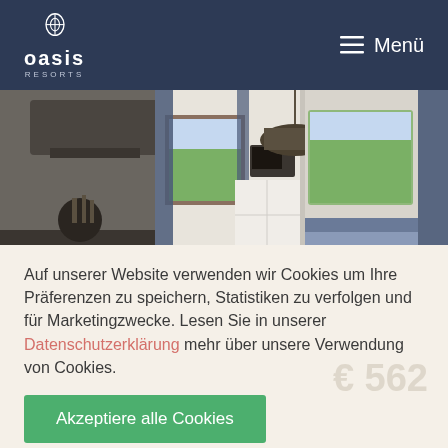Oasis Resorts — Menü
[Figure (photo): Interior photo of a modern alpine apartment/resort room with kitchen hood, pendant lamps, microwave, white cabinetry, blue curtains, and mountain view through windows.]
Auf unserer Website verwenden wir Cookies um Ihre Präferenzen zu speichern, Statistiken zu verfolgen und für Marketingzwecke. Lesen Sie in unserer Datenschutzerklärung mehr über unsere Verwendung von Cookies.
Akzeptiere alle Cookies